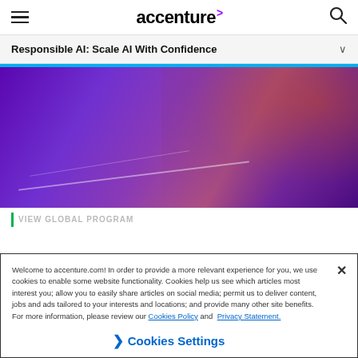accenture
Responsible AI: Scale AI With Confidence
[Figure (photo): Purple-toned abstract image showing a hand holding what appears to be a glowing object with light streaks, in a dark purple background with reddish highlights on the right side.]
Welcome to accenture.com! In order to provide a more relevant experience for you, we use cookies to enable some website functionality. Cookies help us see which articles most interest you; allow you to easily share articles on social media; permit us to deliver content, jobs and ads tailored to your interests and locations; and provide many other site benefits. For more information, please review our Cookies Policy and Privacy Statement.
Cookies Settings